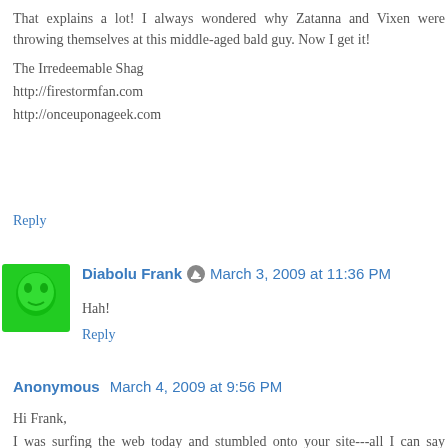That explains a lot! I always wondered why Zatanna and Vixen were throwing themselves at this middle-aged bald guy. Now I get it!

The Irredeemable Shag
http://firestormfan.com
http://onceuponageek.com
Reply
Diabolu Frank  March 3, 2009 at 11:36 PM
Hah!
Reply
Anonymous  March 4, 2009 at 9:56 PM
Hi Frank,
I was surfing the web today and stumbled onto your site---all I can say is...WOW!
LOL---thank you so much for the very kind words and